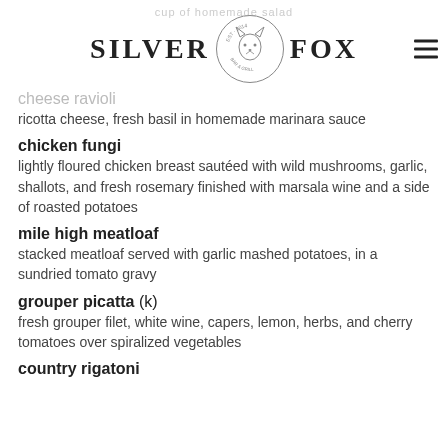[Figure (logo): Silver Fox Bar & Grill logo with fox illustration in circular badge, flanked by SILVER and FOX text in bold serif font, with hamburger menu icon on the right]
cheese ravioli
ricotta cheese, fresh basil in homemade marinara sauce
chicken fungi
lightly floured chicken breast sautéed with wild mushrooms, garlic, shallots, and fresh rosemary finished with marsala wine and a side of roasted potatoes
mile high meatloaf
stacked meatloaf served with garlic mashed potatoes, in a sundried tomato gravy
grouper picatta (k)
fresh grouper filet, white wine, capers, lemon, herbs, and cherry tomatoes over spiralized vegetables
country rigatoni